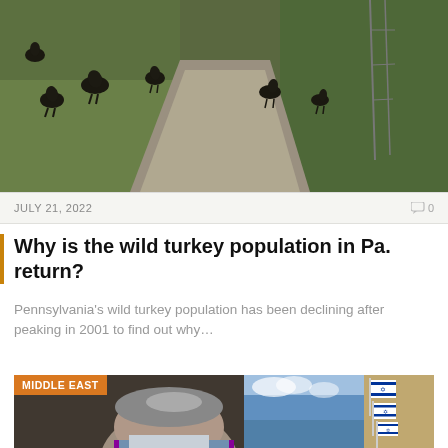[Figure (photo): Wild turkeys on a gravel path surrounded by green grass, with a fence visible on the right side]
JULY 21, 2022
0
Why is the wild turkey population in Pa. return?
Pennsylvania’s wild turkey population has been declining after peaking in 2001 to find out why…
[Figure (photo): Left panel shows a man with gray hair wearing a kippah, right panel shows Israeli flags hanging on a building against a blue sky]